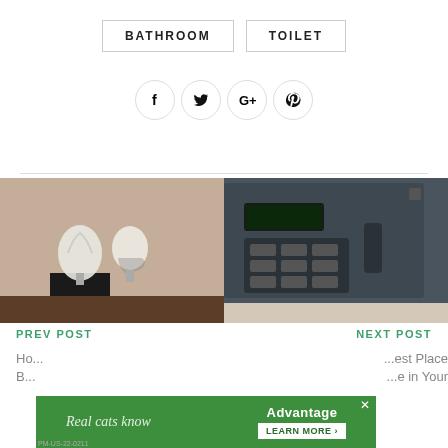BATHROOM
TOILET
[Figure (infographic): Social share icons: Facebook, Twitter, Google+, Pinterest in circular bordered buttons]
[Figure (photo): Photo of light bulbs including CFL and incandescent bulbs on a dark pedestal against a brick/concrete wall]
[Figure (photo): Photo of a dark grey electronic safe with keypad/display]
PREV POST
NEXT POST
Ho... B...
...est Place ...e in Your
[Figure (infographic): Green advertisement banner: 'Real cats know' on left, 'Advantage' logo and 'LEARN MORE' button on right, with close X button]